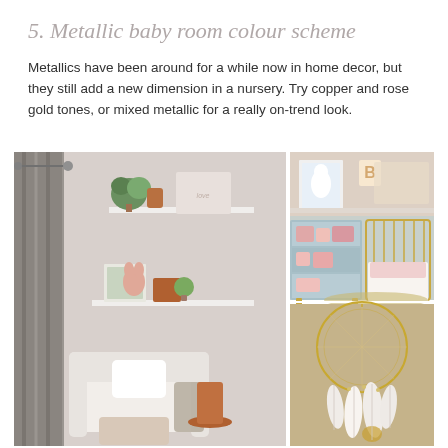5. Metallic baby room colour scheme
Metallics have been around for a while now in home decor, but they still add a new dimension in a nursery. Try copper and rose gold tones, or mixed metallic for a really on-trend look.
[Figure (photo): Three nursery room photos in a grid: left large photo showing a cosy corner with white floating shelves, copper accent table, white armchair, grey curtains, and decorative items including copper vase and plants. Top right photo showing a baby room with gold-framed crib, light blue bookcase with pink items, wall art with swan print and letter B, and gold/metallic accessories. Bottom right photo showing a gold/metallic dream catcher mobile with white feathers hanging against a tan background.]